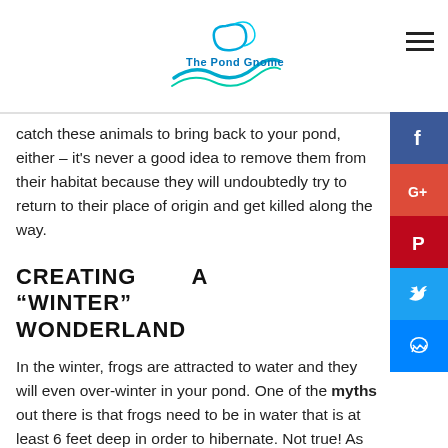The Pond Gnome
catch these animals to bring back to your pond, either – it's never a good idea to remove them from their habitat because they will undoubtedly try to return to their place of origin and get killed along the way.
CREATING A "WINTER" WONDERLAND
In the winter, frogs are attracted to water and they will even over-winter in your pond. One of the myths out there is that frogs need to be in water that is at least 6 feet deep in order to hibernate. Not true! As long as you have mud for them to burrow in, whether it is a deep plant pocket or a potted plant, they'll be just fine. Make sure the plant pocket or pot is deep enough to keep them away from cold temperatures. If your pond is shelved, they'll